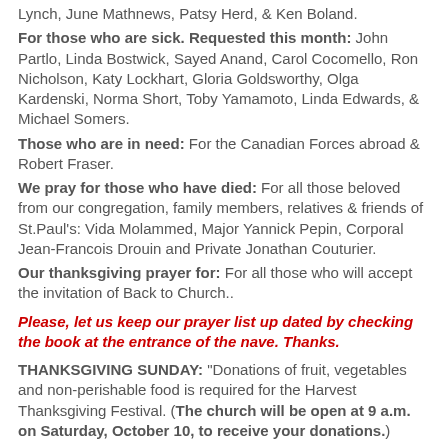Lynch, June Mathnews, Patsy Herd, & Ken Boland.
For those who are sick. Requested this month: John Partlo, Linda Bostwick, Sayed Anand, Carol Cocomello, Ron Nicholson, Katy Lockhart, Gloria Goldsworthy, Olga Kardenski, Norma Short, Toby Yamamoto, Linda Edwards, & Michael Somers.
Those who are in need: For the Canadian Forces abroad & Robert Fraser.
We pray for those who have died: For all those beloved from our congregation, family members, relatives & friends of St.Paul's: Vida Molammed, Major Yannick Pepin, Corporal Jean-Francois Drouin and Private Jonathan Couturier.
Our thanksgiving prayer for: For all those who will accept the invitation of Back to Church..
Please, let us keep our prayer list up dated by checking the book at the entrance of the nave. Thanks.
THANKSGIVING SUNDAY: "Donations of fruit, vegetables and non-perishable food is required for the Harvest Thanksgiving Festival. (The church will be open at 9 a.m. on Saturday, October 10, to receive your donations.)